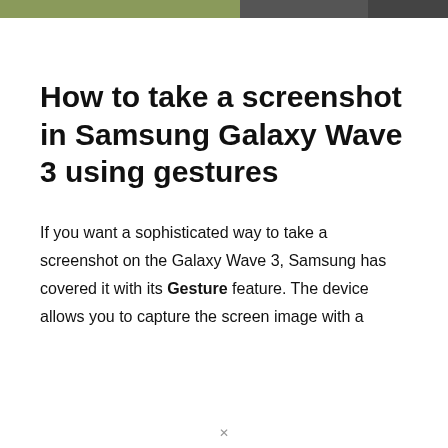How to take a screenshot in Samsung Galaxy Wave 3 using gestures
If you want a sophisticated way to take a screenshot on the Galaxy Wave 3, Samsung has covered it with its Gesture feature. The device allows you to capture the screen image with a